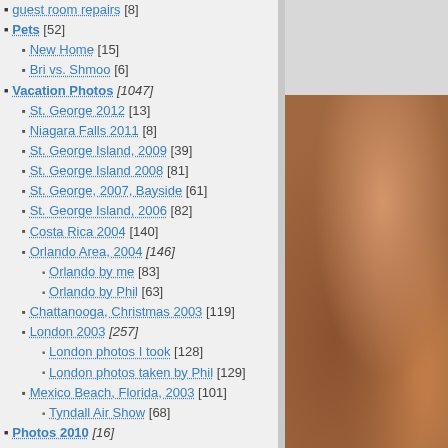guest room repairs [8]
Pets [52]
New Home [15]
Bri vs. Shmoo [6]
Vacation Photos [1047]
St. George 2012 [13]
Niagara Falls 2011 [8]
St. George Island, 2009 [39]
St. George Island 2008 [81]
St. George, 2007, Bayside [61]
St. George Island, 2006 [82]
Costa Rica 2004 [140]
Orlando Area, 2004 [146]
Orlando by me [83]
Orlando by Phil [63]
Chattanooga, Christmas 2003 [119]
London 2003 [257]
London photos I took [128]
London photos taken by Phil [129]
Mexico Beach, Florida, 2003 [101]
Tyndall Air Show [68]
Photos 2010 [16]
Snowpacalypse 2010 [8]
Our Garden [8]
Photos 2009 [66]
Assateague Island National Park [26]
Birds [27]
Washington D.C. [159]
January 05 [66]
D.C. Kite Festival, 2006 [20]
June 06 [29]
National Zoo 2006 [44]
Craft 2014 [2]
Craft 2013 [17]
shmoocon staff soap [3]
[Figure (photo): Close-up photo of yarn or fiber craft items in warm brown/orange tones with a colorful fabric background]